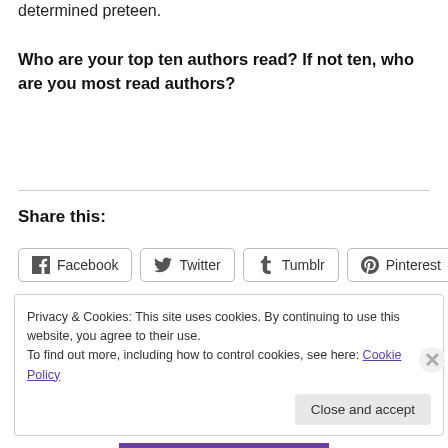determined preteen.
Who are your top ten authors read? If not ten, who are you most read authors?
Share this:
[Figure (other): Social share buttons for Facebook, Twitter, Tumblr, Pinterest]
Loading...
Privacy & Cookies: This site uses cookies. By continuing to use this website, you agree to their use. To find out more, including how to control cookies, see here: Cookie Policy
Close and accept